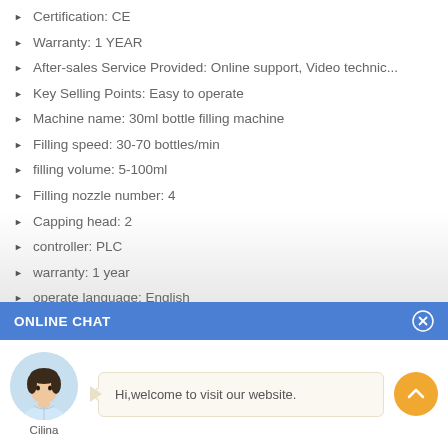Certification: CE
Warranty: 1 YEAR
After-sales Service Provided: Online support, Video technic...
Key Selling Points: Easy to operate
Machine name: 30ml bottle filling machine
Filling speed: 30-70 bottles/min
filling volume: 5-100ml
Filling nozzle number: 4
Capping head: 2
controller: PLC
warranty: 1 year
operate language: English
ONLINE CHAT
[Figure (photo): Avatar photo of a woman named Cilina with a chat bubble saying 'Hi, welcome to visit our website.']